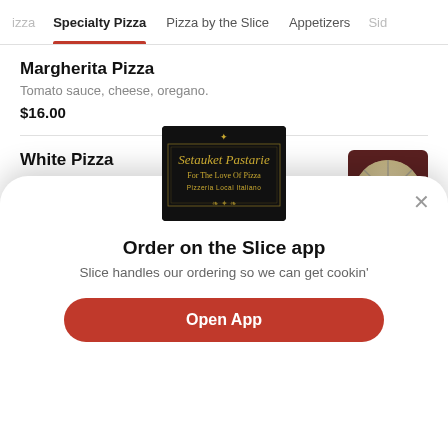izza  Specialty Pizza  Pizza by the Slice  Appetizers  Sid
Margherita Pizza
Tomato sauce, cheese, oregano.
$16.00
White Pizza
A sauceless pie topped with ricotta, mozzarella, and parmesan cheese.
[Figure (photo): A white pizza cut into slices, viewed from above, on a white background]
[Figure (logo): Setauket Pastarie logo — black background with ornate gold text: 'Setauket Pastarie / For The Love Of Pizza / Pizzeria Local Italiano']
Order on the Slice app
Slice handles our ordering so we can get cookin'
Open App